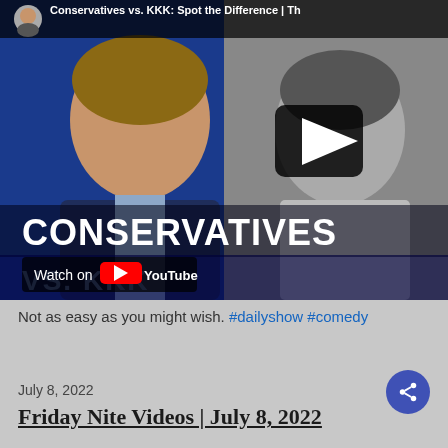[Figure (screenshot): YouTube video thumbnail showing two men side by side — a man in a blue suit on the left and a black-and-white photo of a man on the right. Title overlay reads 'Conservatives vs. KKK: Spot the Difference | Th'. Large text overlay reads 'CONSERVATIVES' and 'VS. KKK'. A play button is visible in the center-right area. 'Watch on YouTube' button is shown at the bottom left.]
Not as easy as you might wish. #dailyshow #comedy
July 8, 2022
Friday Nite Videos | July 8, 2022